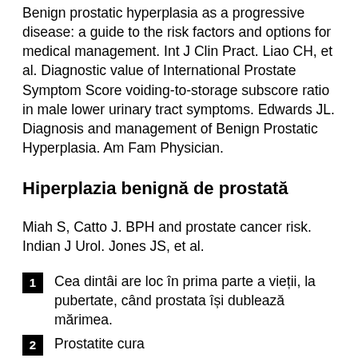Benign prostatic hyperplasia as a progressive disease: a guide to the risk factors and options for medical management. Int J Clin Pract. Liao CH, et al. Diagnostic value of International Prostate Symptom Score voiding-to-storage subscore ratio in male lower urinary tract symptoms. Edwards JL. Diagnosis and management of Benign Prostatic Hyperplasia. Am Fam Physician.
Hiperplazia benignă de prostată
Miah S, Catto J. BPH and prostate cancer risk. Indian J Urol. Jones JS, et al.
1 Cea dintâi are loc în prima parte a vieții, la pubertate, când prostata își dublează mărimea.
2 Prostatite cura